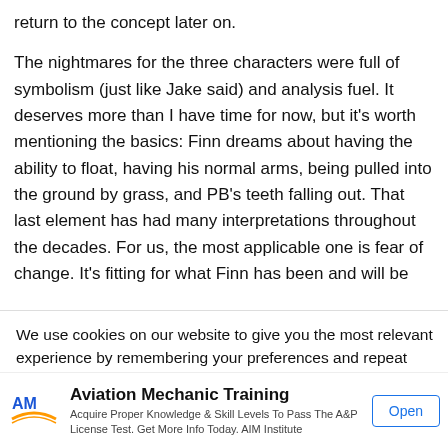return to the concept later on.
The nightmares for the three characters were full of symbolism (just like Jake said) and analysis fuel. It deserves more than I have time for now, but it's worth mentioning the basics: Finn dreams about having the ability to float, having his normal arms, being pulled into the ground by grass, and PB's teeth falling out. That last element has had many interpretations throughout the decades. For us, the most applicable one is fear of change. It's fitting for what Finn has been and will be
We use cookies on our website to give you the most relevant experience by remembering your preferences and repeat visits. By clicking “Accept”, you consent to the use ∨ LL the cookies.
[Figure (infographic): Advertisement banner for Aviation Mechanic Training by AIM Institute with logo, descriptive text, and Open button]